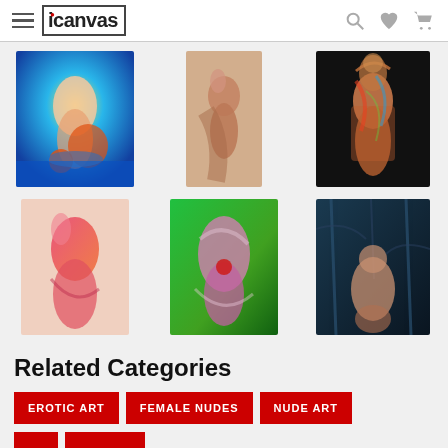icanvas
[Figure (photo): Grid of 6 artwork canvas images showing female nude art paintings in various styles]
Related Categories
EROTIC ART
FEMALE NUDES
NUDE ART